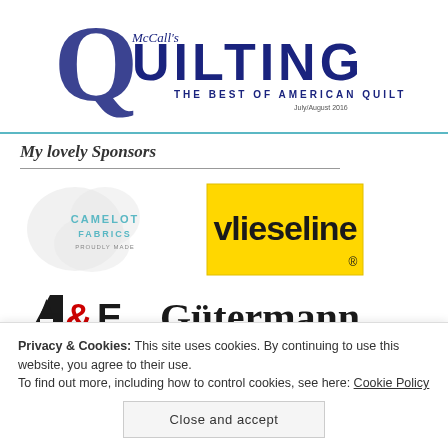[Figure (logo): McCall's Quilting magazine logo — large decorative Q with 'QUILTING' text and subtitle 'THE BEST OF AMERICAN QUILTING', July/August 2016]
My lovely Sponsors
[Figure (logo): Camelot Fabrics logo — grey cloud/bubble shape with 'CAMELOT FABRICS' text in teal]
[Figure (logo): Vlieseline logo — yellow rectangle with 'vlieseline' in bold black lowercase text and registered trademark symbol]
[Figure (logo): A&E logo — stylized A&E with black and red design]
[Figure (logo): Gütermann logo — 'Gütermann' in large black serif text]
Privacy & Cookies: This site uses cookies. By continuing to use this website, you agree to their use.
To find out more, including how to control cookies, see here: Cookie Policy
Close and accept